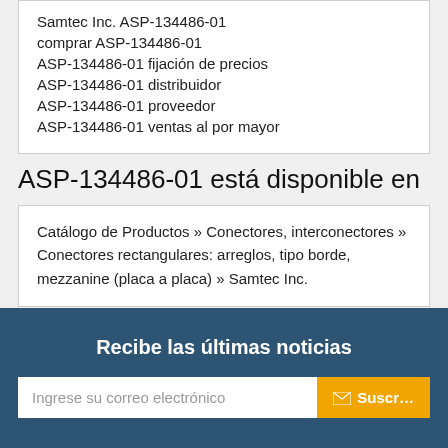Samtec Inc. ASP-134486-01
comprar ASP-134486-01
ASP-134486-01 fijación de precios
ASP-134486-01 distribuidor
ASP-134486-01 proveedor
ASP-134486-01 ventas al por mayor
ASP-134486-01 está disponible en
Catálogo de Productos » Conectores, interconectores » Conectores rectangulares: arreglos, tipo borde, mezzanine (placa a placa) » Samtec Inc.
Recibe las últimas noticias
Ingrese su correo electrónico
✉ Suscr...